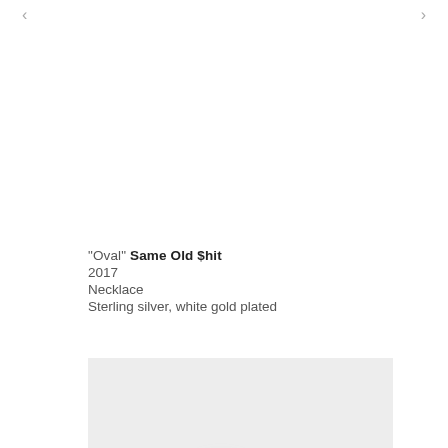"Oval" Same Old $hit
2017
Necklace
Sterling silver, white gold plated
[Figure (photo): Product photo of a small metallic necklace piece on a light gray background, slightly blurred]
"False love #boobs" Same Old $hit
2017